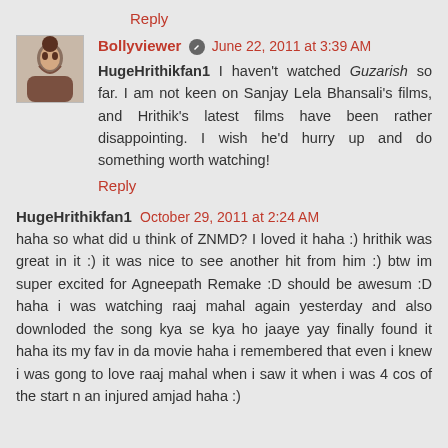Reply
Bollyviewer [icon] June 22, 2011 at 3:39 AM
HugeHrithikfan1 I haven't watched Guzarish so far. I am not keen on Sanjay Lela Bhansali's films, and Hrithik's latest films have been rather disappointing. I wish he'd hurry up and do something worth watching!
Reply
HugeHrithikfan1 October 29, 2011 at 2:24 AM
haha so what did u think of ZNMD? I loved it haha :) hrithik was great in it :) it was nice to see another hit from him :) btw im super excited for Agneepath Remake :D should be awesum :D haha i was watching raaj mahal again yesterday and also downloded the song kya se kya ho jaaye yay finally found it haha its my fav in da movie haha i remembered that even i knew i was gong to love raaj mahal when i saw it when i was 4 cos of the start n an injured amjad haha :)